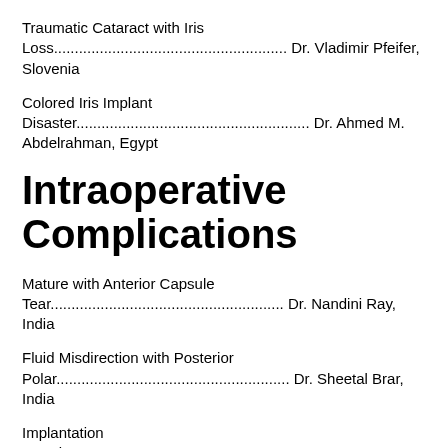Traumatic Cataract with Iris Loss........................................................ Dr. Vladimir Pfeifer, Slovenia
Colored Iris Implant Disaster........................................................ Dr. Ahmed M. Abdelrahman, Egypt
Intraoperative Complications
Mature with Anterior Capsule Tear........................................................ Dr. Nandini Ray, India
Fluid Misdirection with Posterior Polar........................................................ Dr. Sheetal Brar, India
Implantation Surprise........................................................ Dr. Dres